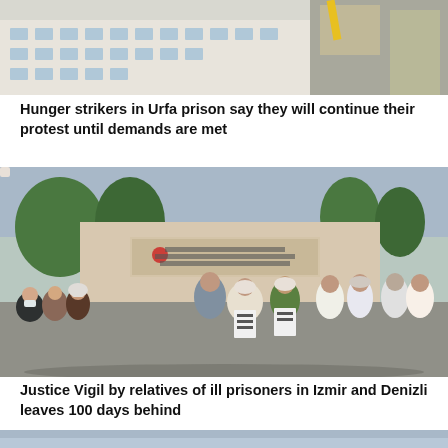[Figure (photo): Aerial or street-level view of a large building complex, possibly a prison or government facility, with construction equipment visible in the background.]
Hunger strikers in Urfa prison say they will continue their protest until demands are met
[Figure (photo): Group of people, mostly women wearing headscarves and masks, standing in front of the İzmir Buca Ceza İnfaz Kurumları (Buca Prison) sign. Some people are holding protest signs.]
Justice Vigil by relatives of ill prisoners in Izmir and Denizli leaves 100 days behind
[Figure (photo): Partial view of another photo, appears to be sky and outdoor scene, cropped at page bottom.]